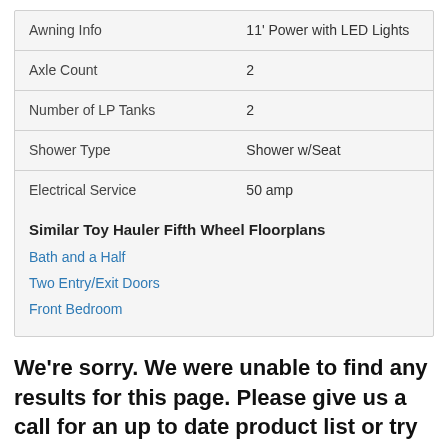|  |  |
| --- | --- |
| Awning Info | 11' Power with LED Lights |
| Axle Count | 2 |
| Number of LP Tanks | 2 |
| Shower Type | Shower w/Seat |
| Electrical Service | 50 amp |
Similar Toy Hauler Fifth Wheel Floorplans
Bath and a Half
Two Entry/Exit Doors
Front Bedroom
We're sorry. We were unable to find any results for this page. Please give us a call for an up to date product list or try our Search and expand your criteria.